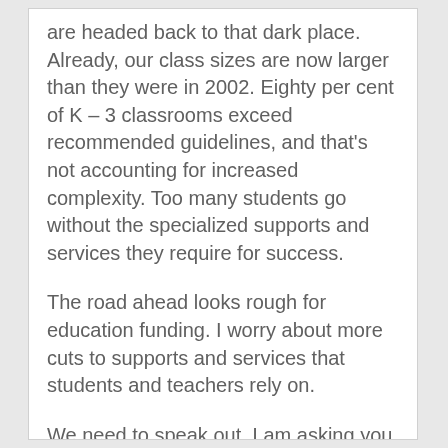are headed back to that dark place. Already, our class sizes are now larger than they were in 2002. Eighty per cent of K – 3 classrooms exceed recommended guidelines, and that's not accounting for increased complexity. Too many students go without the specialized supports and services they require for success.
The road ahead looks rough for education funding. I worry about more cuts to supports and services that students and teachers rely on.
We need to speak out. I am asking you to join me, the Association and your colleagues in the fight for public education. We cannot allow the turmoil of the 1990s to be repeated.